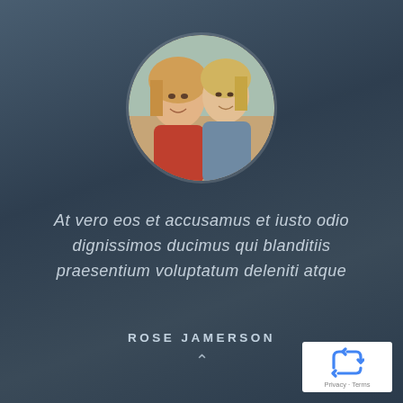[Figure (photo): Circular portrait photo of two smiling blonde women (mother and daughter) on a dark blue-grey background]
At vero eos et accusamus et iusto odio dignissimos ducimus qui blanditiis praesentium voluptatum deleniti atque
ROSE JAMERSON
[Figure (logo): Google reCAPTCHA badge with recycling-arrow logo and Privacy · Terms links]